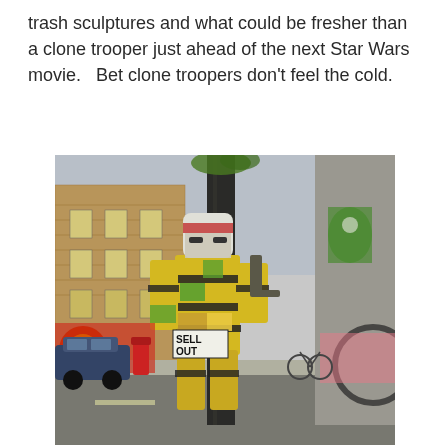trash sculptures and what could be fresher than a clone trooper just ahead of the next Star Wars movie.   Bet clone troopers don't feel the cold.
[Figure (photo): A life-size sculpture of a Star Wars clone trooper made from trash/recycled materials (cardboard, plastic, tape, scraps) standing against a lamp post on a London street. The figure is made from yellow, black, green and white pieces. A red post box is visible to the left, along with brick buildings, graffiti walls, and a car. The sculpture has a sign reading 'SELL OUT' on it.]